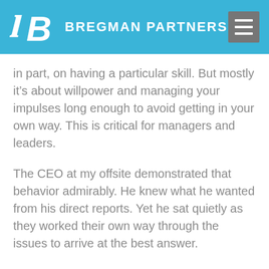BREGMAN PARTNERS
in part, on having a particular skill. But mostly it’s about willpower and managing your impulses long enough to avoid getting in your own way. This is critical for managers and leaders.
The CEO at my offsite demonstrated that behavior admirably. He knew what he wanted from his direct reports. Yet he sat quietly as they worked their own way through the issues to arrive at the best answer.
It’s tempting to jump in and give people the answer when they’re struggling, especially when you’re accountable for the result. And they want